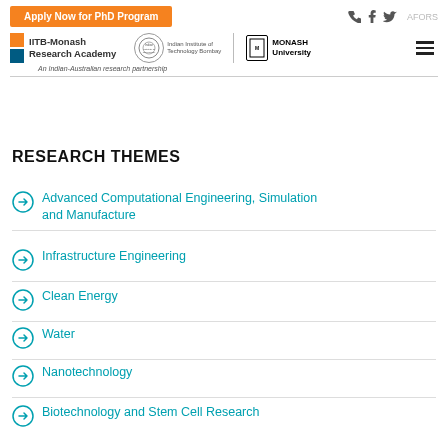[Figure (logo): Orange button: Apply Now for PhD Program]
[Figure (logo): IITB-Monash Research Academy logo with IIT Bombay emblem and Monash University logo; An Indian-Australian research partnership]
RESEARCH THEMES
Advanced Computational Engineering, Simulation and Manufacture
Infrastructure Engineering
Clean Energy
Water
Nanotechnology
Biotechnology and Stem Cell Research